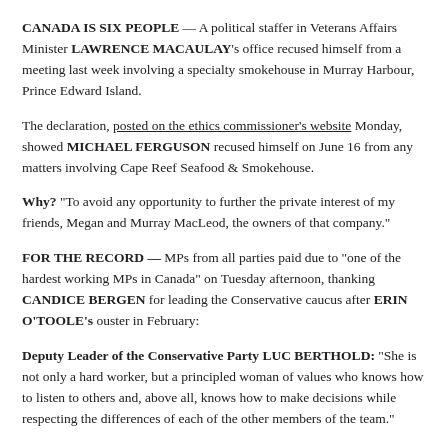CANADA IS SIX PEOPLE — A political staffer in Veterans Affairs Minister LAWRENCE MACAULAY's office recused himself from a meeting last week involving a specialty smokehouse in Murray Harbour, Prince Edward Island.
The declaration, posted on the ethics commissioner's website Monday, showed MICHAEL FERGUSON recused himself on June 16 from any matters involving Cape Reef Seafood & Smokehouse.
Why? "To avoid any opportunity to further the private interest of my friends, Megan and Murray MacLeod, the owners of that company."
FOR THE RECORD — MPs from all parties paid due to "one of the hardest working MPs in Canada" on Tuesday afternoon, thanking CANDICE BERGEN for leading the Conservative caucus after ERIN O'TOOLE's ouster in February:
Deputy Leader of the Conservative Party LUC BERTHOLD: "She is not only a hard worker, but a principled woman of values who knows how to listen to others and, above all, knows how to make decisions while respecting the differences of each of the other members of the team."